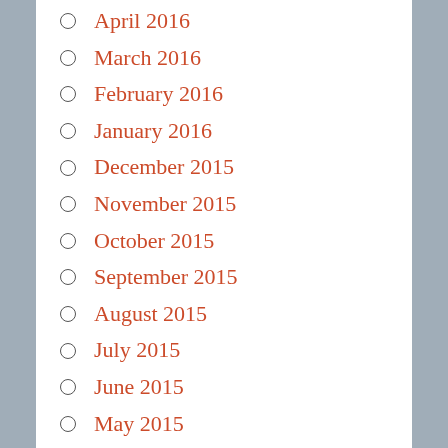April 2016
March 2016
February 2016
January 2016
December 2015
November 2015
October 2015
September 2015
August 2015
July 2015
June 2015
May 2015
April 2015
March 2015
February 2015
January 2015